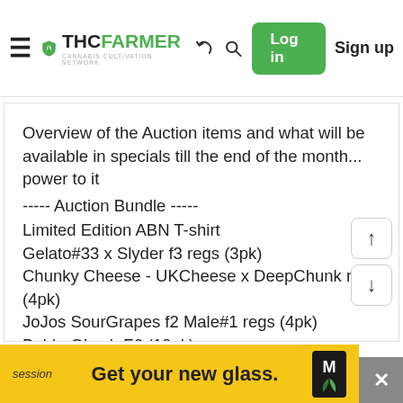THCFarmer - Cannabis Cultivation Network. Log in | Sign up
Overview of the Auction items and what will be available in specials till the end of the month... power to it
----- Auction Bundle -----
Limited Edition ABN T-shirt
Gelato#33 x Slyder f3 regs (3pk)
Chunky Cheese - UKCheese x DeepChunk regs (4pk)
JoJos SourGrapes f2 Male#1 regs (4pk)
BubbaOkush F6 (10pk)
GMT? X Blood Orange regs (8pk?)
Yo Mama F2 (15pk)
MTF x MTF Fems (6pk)
Skittys Cherry Slyder x MTF fems (10pk)
[Figure (screenshot): Advertisement banner: yellow background with text 'session' and 'Get your new glass.' with a logo and close button]